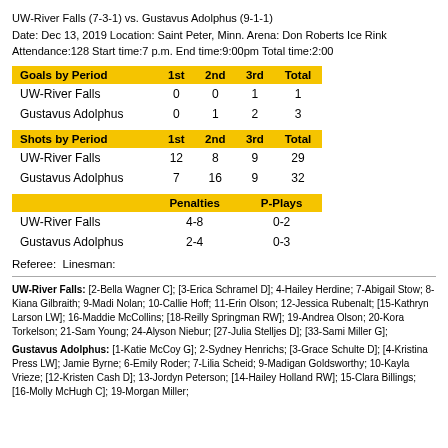UW-River Falls (7-3-1) vs. Gustavus Adolphus (9-1-1)
Date: Dec 13, 2019 Location: Saint Peter, Minn. Arena: Don Roberts Ice Rink
Attendance:128 Start time:7 p.m. End time:9:00pm Total time:2:00
| Goals by Period | 1st | 2nd | 3rd | Total |
| --- | --- | --- | --- | --- |
| UW-River Falls | 0 | 0 | 1 | 1 |
| Gustavus Adolphus | 0 | 1 | 2 | 3 |
| Shots by Period | 1st | 2nd | 3rd | Total |
| --- | --- | --- | --- | --- |
| UW-River Falls | 12 | 8 | 9 | 29 |
| Gustavus Adolphus | 7 | 16 | 9 | 32 |
|  | Penalties | P-Plays |
| --- | --- | --- |
| UW-River Falls | 4-8 | 0-2 |
| Gustavus Adolphus | 2-4 | 0-3 |
Referee:  Linesman:
UW-River Falls: [2-Bella Wagner C]; [3-Erica Schramel D]; 4-Hailey Herdine; 7-Abigail Stow; 8-Kiana Gilbraith; 9-Madi Nolan; 10-Callie Hoff; 11-Erin Olson; 12-Jessica Rubenalt; [15-Kathryn Larson LW]; 16-Maddie McCollins; [18-Reilly Springman RW]; 19-Andrea Olson; 20-Kora Torkelson; 21-Sam Young; 24-Alyson Niebur; [27-Julia Stelljes D]; [33-Sami Miller G];
Gustavus Adolphus: [1-Katie McCoy G]; 2-Sydney Henrichs; [3-Grace Schulte D]; [4-Kristina Press LW]; Jamie Byrne; 6-Emily Roder; 7-Lilia Scheid; 9-Madigan Goldsworthy; 10-Kayla Vrieze; [12-Kristen Cash D]; 13-Jordyn Peterson; [14-Hailey Holland RW]; 15-Clara Billings; [16-Molly McHugh C]; 19-Morgan Miller;